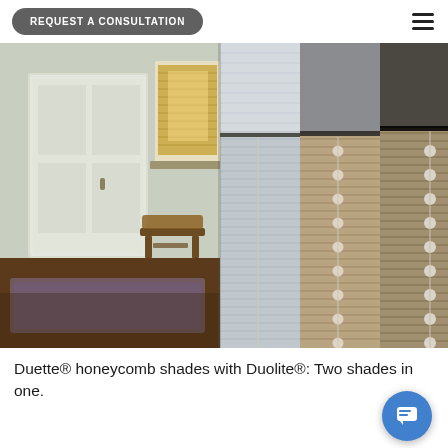REQUEST A CONSULTATION
[Figure (photo): Duette honeycomb shades with Duolite — showing multiple cellular shades in tan/beige and grey colors hanging side by side, with a room interior visible on the left showing a window with a golden-brown shade and a wooden stool on a hardwood floor.]
Duette® honeycomb shades with Duolite®: Two shades in one.